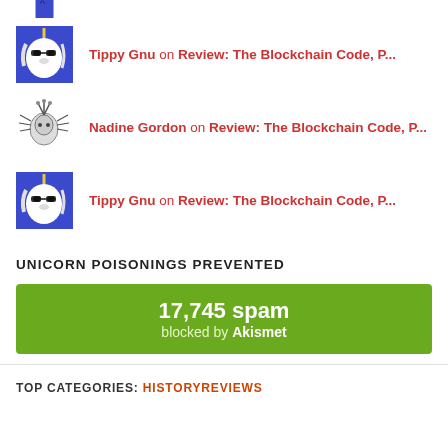Tippy Gnu on Review: The Blockchain Code, P...
Nadine Gordon on Review: The Blockchain Code, P...
Tippy Gnu on Review: The Blockchain Code, P...
UNICORN POISONINGS PREVENTED
[Figure (infographic): Green banner showing 17,745 spam blocked by Akismet]
TOP CATEGORIES: HISTORYREVIEWS